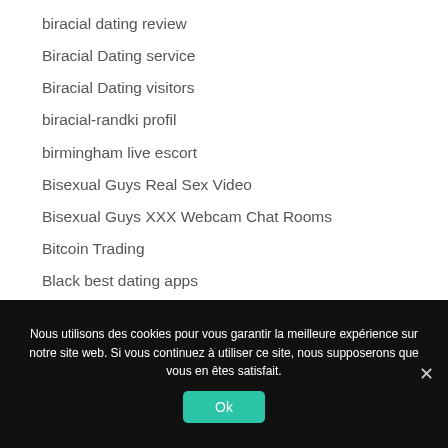biracial dating review
Biracial Dating service
Biracial Dating visitors
biracial-randki profil
birmingham live escort
Bisexual Guys Real Sex Video
Bisexual Guys XXX Webcam Chat Rooms
Bitcoin Trading
Black best dating apps
Black dating sites top 10
Nous utilisons des cookies pour vous garantir la meilleure expérience sur notre site web. Si vous continuez à utiliser ce site, nous supposerons que vous en êtes satisfait.